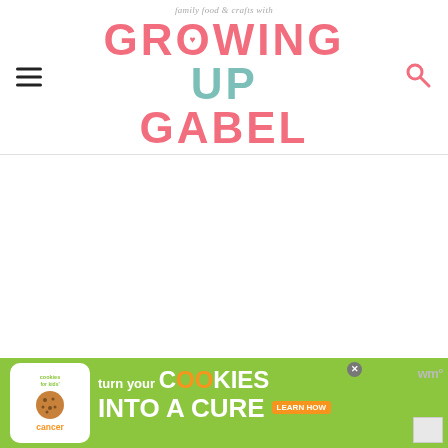family food & crafts with GROWING UP GABEL
[Figure (screenshot): White empty content area below the header]
[Figure (infographic): Advertisement banner: 'cookies for kids cancer - turn your COOKIES into a CURE LEARN HOW' on green background with cookie badge logo, close button, and Mediavine logo]